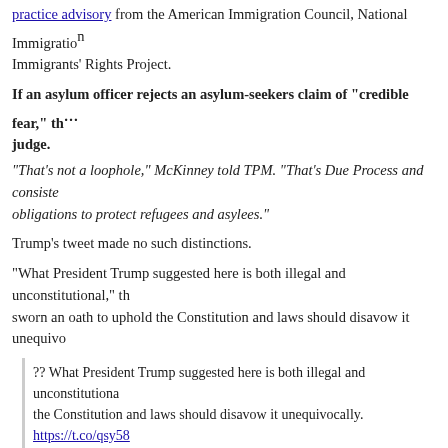practice advisory from the American Immigration Council, National Immigration... Immigrants' Rights Project.
If an asylum officer rejects an asylum-seekers claim of "credible fear," th... judge.
"That's not a loophole," McKinney told TPM. "That's Due Process and consiste... obligations to protect refugees and asylees."
Trump's tweet made no such distinctions.
"What President Trump suggested here is both illegal and unconstitutional," th... sworn an oath to uphold the Constitution and laws should disavow it unequivo...
?? What President Trump suggested here is both illegal and unconstitutiona... the Constitution and laws should disavow it unequivocally. https://t.co/qsy58...
"First immigrants don't get due process," Rep. Ruben Gallego (D-AZ) wrote in... Then the poor. Then anyone that disagrees with Trump."
U.S. and international law prohibit the United States from turning away o... mer of which many advocates allege is evident in the now-frequent line t... "at capacity."
"We are not absolutely saying that they cannot (make an asylum claim), we ar... time," a border official protested to one advocate who'd accompanied asylum-... Monthly. The same report described border agents standing directly on the U.S...